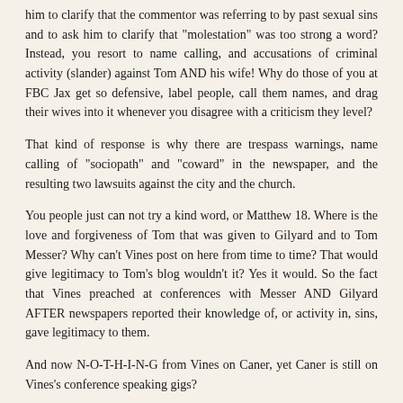him to clarify that the commentor was referring to by past sexual sins and to ask him to clarify that "molestation" was too strong a word? Instead, you resort to name calling, and accusations of criminal activity (slander) against Tom AND his wife! Why do those of you at FBC Jax get so defensive, label people, call them names, and drag their wives into it whenever you disagree with a criticism they level?
That kind of response is why there are trespass warnings, name calling of "sociopath" and "coward" in the newspaper, and the resulting two lawsuits against the city and the church.
You people just can not try a kind word, or Matthew 18. Where is the love and forgiveness of Tom that was given to Gilyard and to Tom Messer? Why can't Vines post on here from time to time? That would give legitimacy to Tom's blog wouldn't it? Yes it would. So the fact that Vines preached at conferences with Messer AND Gilyard AFTER newspapers reported their knowledge of, or activity in, sins, gave legitimacy to them.
And now N-O-T-H-I-N-G from Vines on Caner, yet Caner is still on Vines's conference speaking gigs?